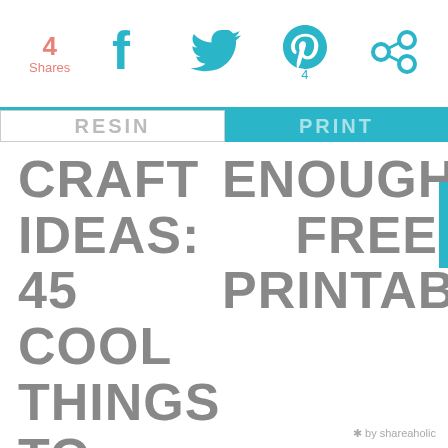4 Shares | Facebook | Twitter | Pinterest 4 | Shareaholic
CRAFT IDEAS: 45 COOL THINGS TO MAKE WITH RESIN!
ENOUGH FREE PRINTABLE!
* by shareaholic